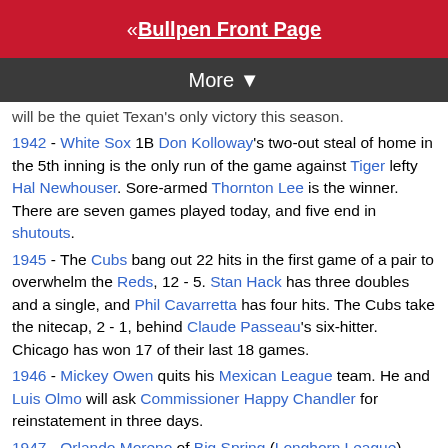« Bullpen Front Page
More ▼
will be the quiet Texan's only victory this season.
1942 - White Sox 1B Don Kolloway's two-out steal of home in the 5th inning is the only run of the game against Tiger lefty Hal Newhouser. Sore-armed Thornton Lee is the winner. There are seven games played today, and five end in shutouts.
1945 - The Cubs bang out 22 hits in the first game of a pair to overwhelm the Reds, 12 - 5. Stan Hack has three doubles and a single, and Phil Cavarretta has four hits. The Cubs take the nitecap, 2 - 1, behind Claude Passeau's six-hitter. Chicago has won 17 of their last 18 games.
1946 - Mickey Owen quits his Mexican League team. He and Luis Olmo will ask Commissioner Happy Chandler for reinstatement in three days.
1947 - Orlando Moreno of Big Spring (Longhorn League) goes hitless, ending his consecutive game hitting streak at 43 games.
1948 - Dodger Gene Hermanski hits three successive home runs to offset six Brooklyn errors as the Dodgers beat the Cubs, 6 - 4.